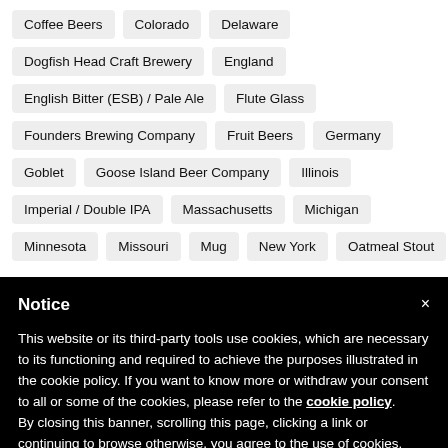Coffee Beers
Colorado
Delaware
Dogfish Head Craft Brewery
England
English Bitter (ESB) / Pale Ale
Flute Glass
Founders Brewing Company
Fruit Beers
Germany
Goblet
Goose Island Beer Company
Illinois
Imperial / Double IPA
Massachusetts
Michigan
Minnesota
Missouri
Mug
New York
Oatmeal Stout
Notice
This website or its third-party tools use cookies, which are necessary to its functioning and required to achieve the purposes illustrated in the cookie policy. If you want to know more or withdraw your consent to all or some of the cookies, please refer to the cookie policy.
By closing this banner, scrolling this page, clicking a link or continuing to browse otherwise, you agree to the use of cookies.